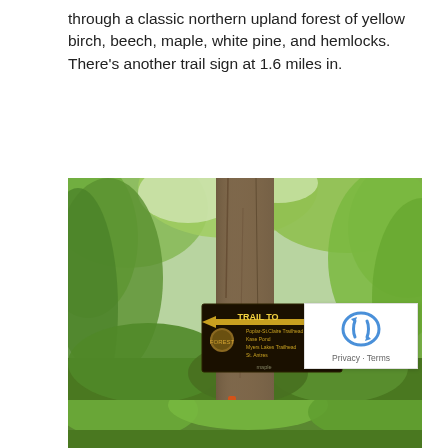through a classic northern upland forest of yellow birch, beech, maple, white pine, and hemlocks. There's another trail sign at 1.6 miles in.
[Figure (photo): A trail sign attached to a large tree trunk in a northern upland forest. The sign reads 'TRAIL TO' with an arrow and lists destinations. The forest is lush green with deciduous trees.]
[Figure (photo): Bottom portion of another forest trail photo, partially visible.]